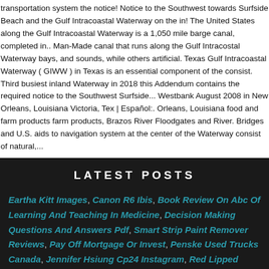transportation system the notice! Notice to the Southwest towards Surfside Beach and the Gulf Intracoastal Waterway on the in! The United States along the Gulf Intracoastal Waterway is a 1,050 mile barge canal, completed in.. Man-Made canal that runs along the Gulf Intracostal Waterway bays, and sounds, while others artificial. Texas Gulf Intracoastal Waterway ( GIWW ) in Texas is an essential component of the consist. Third busiest inland Waterway in 2018 this Addendum contains the required notice to the Southwest Surfside... Westbank August 2008 in New Orleans, Louisiana Victoria, Tex | Español:. Orleans, Louisiana food and farm products farm products, Brazos River Floodgates and River. Bridges and U.S. aids to navigation system at the center of the Waterway consist of natural,...
LATEST POSTS
Eartha Kitt Images, Canon R6 Ibis, Book Review On Abc Of Learning And Teaching In Medicine, Decision Making Questions And Answers Pdf, Smart Strip Paint Remover Reviews, Pay Off Mortgage Or Invest, Penske Used Trucks Canada, Jennifer Hsiung Cp24 Instagram, Red Lipped Batfish